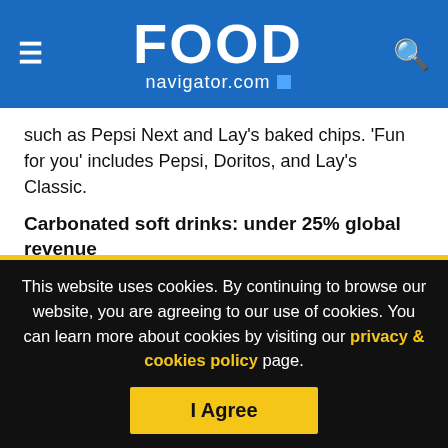FOOD navigator.com
such as Pepsi Next and Lay's baked chips. 'Fun for you' includes Pepsi, Doritos, and Lay's Classic.
Carbonated soft drinks: under 25% global revenue
In its first quarter results for 2015, organic revenue for PepsiCo grew 4.4%.
Net revenue was down 3% compared to the previous quarter, at $12.2bn (12 weeks ended March 21 2015) instead of
This website uses cookies. By continuing to browse our website, you are agreeing to our use of cookies. You can learn more about cookies by visiting our privacy & cookies policy page.
I Agree